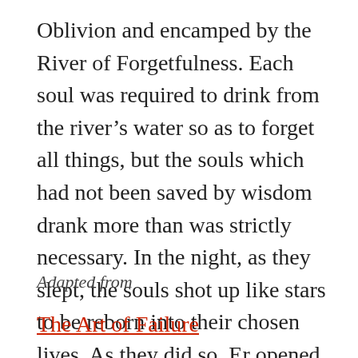Oblivion and encamped by the River of Forgetfulness. Each soul was required to drink from the river’s water so as to forget all things, but the souls which had not been saved by wisdom drank more than was strictly necessary. In the night, as they slept, the souls shot up like stars to be reborn into their chosen lives. As they did so, Er opened his eyes to find himself lying on his funeral pyre.
Adapted from
The Art of Failure